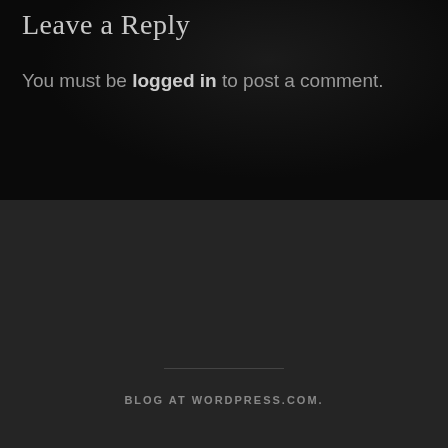Leave a Reply
You must be logged in to post a comment.
BLOG AT WORDPRESS.COM.